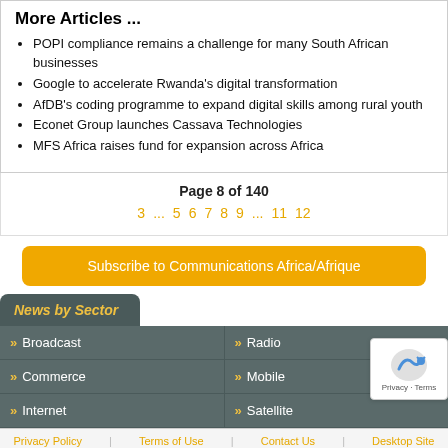More Articles ...
POPI compliance remains a challenge for many South African businesses
Google to accelerate Rwanda's digital transformation
AfDB's coding programme to expand digital skills among rural youth
Econet Group launches Cassava Technologies
MFS Africa raises fund for expansion across Africa
Page 8 of 140
3 ... 5 6 7 8 9 ... 11 12
Subscribe to Communications Africa/Afrique
News by Sector
Broadcast   Radio   Commerce   Mobile   Internet   Satellite
Privacy Policy | Terms of Use | Contact Us | Desktop Site